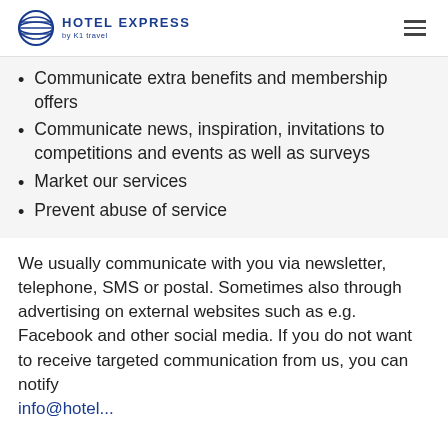HOTEL EXPRESS by K1 travel
Communicate extra benefits and membership offers
Communicate news, inspiration, invitations to competitions and events as well as surveys
Market our services
Prevent abuse of service
We usually communicate with you via newsletter, telephone, SMS or postal. Sometimes also through advertising on external websites such as e.g. Facebook and other social media. If you do not want to receive targeted communication from us, you can notify
info@hotel...